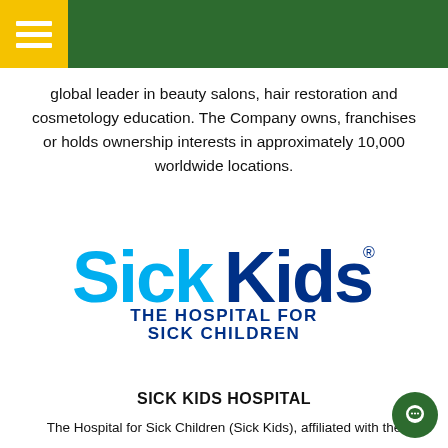global leader in beauty salons, hair restoration and cosmetology education. The Company owns, franchises or holds ownership interests in approximately 10,000 worldwide locations.
[Figure (logo): SickKids – The Hospital for Sick Children logo. 'SickKids' in large bold text with 'Sick' in cyan/blue and 'Kids' in dark navy blue, with a registered trademark symbol. Below reads 'THE HOSPITAL FOR SICK CHILDREN' in dark blue capital letters.]
SICK KIDS HOSPITAL
The Hospital for Sick Children (Sick Kids), affiliated with the